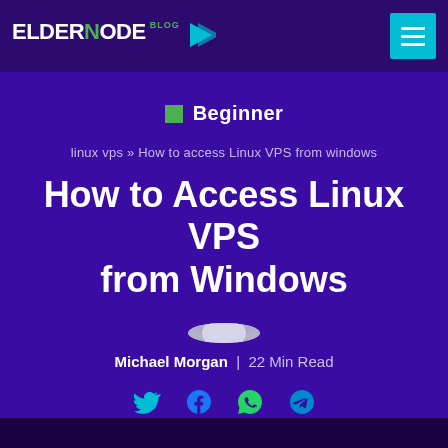Eldernode Blog
Beginner
linux vps » How to access Linux VPS from windows
How to Access Linux VPS from Windows
Michael Morgan | 22 Min Read
[Figure (illustration): Social share icons: Twitter, Facebook, WhatsApp, Telegram]